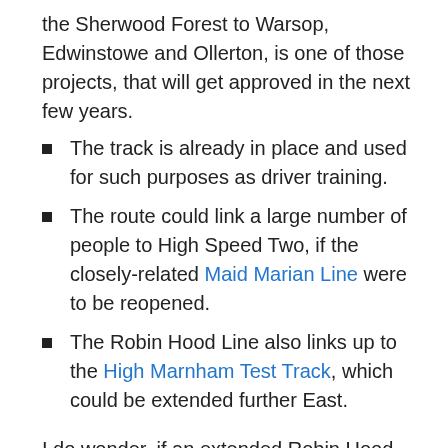the Sherwood Forest to Warsop, Edwinstowe and Ollerton, is one of those projects, that will get approved in the next few years.
The track is already in place and used for such purposes as driver training.
The route could link a large number of people to High Speed Two, if the closely-related Maid Marian Line were to be reopened.
The Robin Hood Line also links up to the High Marnham Test Track, which could be extended further East.
I do wonder, if an extended Robin Hood Line would be an ideal route for introducing Alstom's Class 321 Breeze hydrogen trains.